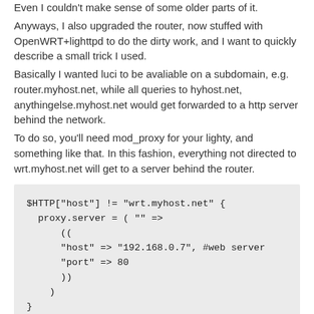Even I couldn't make sense of some older parts of it. Anyways, I also upgraded the router, now stuffed with OpenWRT+lighttpd to do the dirty work, and I want to quickly describe a small trick I used. Basically I wanted luci to be avaliable on a subdomain, e.g. router.myhost.net, while all queries to hyhost.net, anythingelse.myhost.net would get forwarded to a http server behind the network. To do so, you'll need mod_proxy for your lighty, and something like that. In this fashion, everything not directed to wrt.myhost.net will get to a server behind the router.
[Figure (screenshot): Code block showing lighttpd configuration snippet with $HTTP["host"] != "wrt.myhost.net" conditional block setting proxy.server to forward to 192.168.0.7 on port 80]